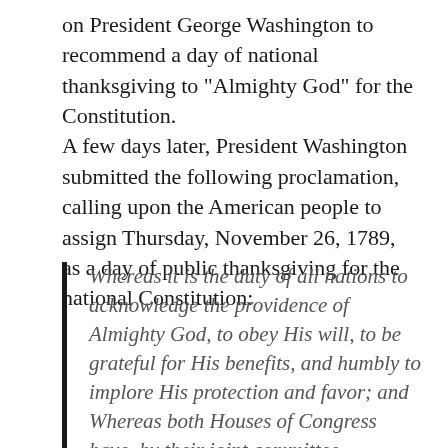on President George Washington to recommend a day of national thanksgiving to “Almighty God” for the Constitution. A few days later, President Washington submitted the following proclamation, calling upon the American people to assign Thursday, November 26, 1789, as a day of public thanksgiving for the national Constitution:
Whereas it is the duty of all nations to acknowledge the providence of Almighty God, to obey His will, to be grateful for His benefits, and humbly to implore His protection and favor; and Whereas both Houses of Congress have, by their joint committee, requested me